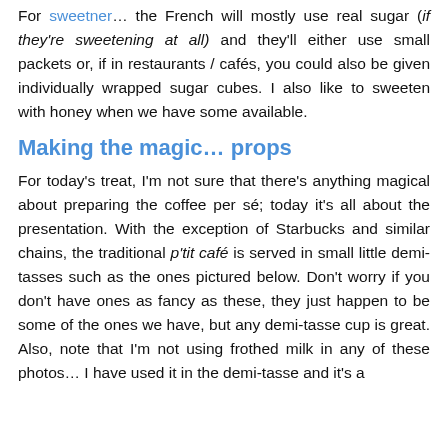For sweetner… the French will mostly use real sugar (if they're sweetening at all) and they'll either use small packets or, if in restaurants / cafés, you could also be given individually wrapped sugar cubes. I also like to sweeten with honey when we have some available.
Making the magic… props
For today's treat, I'm not sure that there's anything magical about preparing the coffee per sé; today it's all about the presentation. With the exception of Starbucks and similar chains, the traditional p'tit café is served in small little demi-tasses such as the ones pictured below. Don't worry if you don't have ones as fancy as these, they just happen to be some of the ones we have, but any demi-tasse cup is great. Also, note that I'm not using frothed milk in any of these photos… I have used it in the demi-tasse and it's a